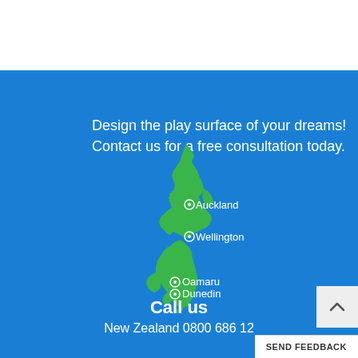Design the play surface of your dreams!
Contact us for a free consultation today.
[Figure (map): Map of New Zealand showing North and South Islands in green on a blue background, with location markers for Auckland, Wellington, Oamaru, and Dunedin]
Call us
New Zealand 0800 686 12...